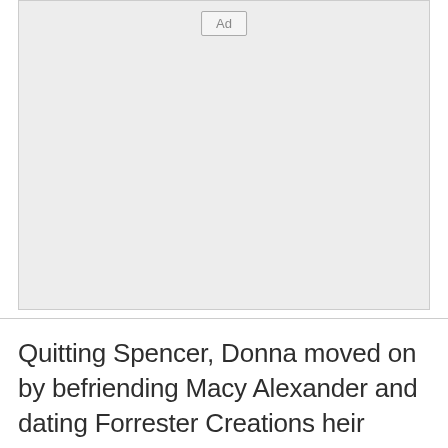[Figure (other): Advertisement placeholder box with 'Ad' label centered at top]
Quitting Spencer, Donna moved on by befriending Macy Alexander and dating Forrester Creations heir Thorne Forrester. Donna and Macy did itleen Th...